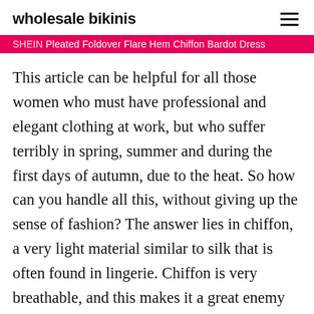wholesale bikinis
SHEIN Pleated Foldover Flare Hem Chiffon Bardot Dress
This article can be helpful for all those women who must have professional and elegant clothing at work, but who suffer terribly in spring, summer and during the first days of autumn, due to the heat. So how can you handle all this, without giving up the sense of fashion? The answer lies in chiffon, a very light material similar to silk that is often found in lingerie. Chiffon is very breathable, and this makes it a great enemy of high temperatures, as you can finally feel more relief and say goodbye to jackets, which, however beautiful and